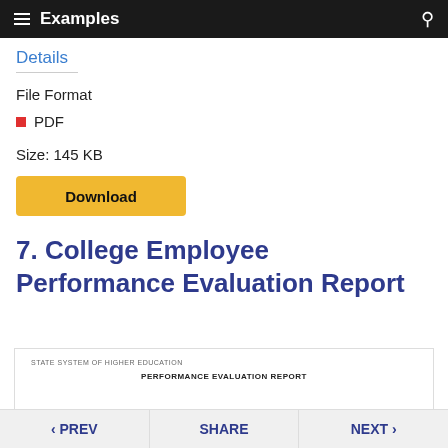Examples
Details
File Format
PDF
Size: 145 KB
Download
7. College Employee Performance Evaluation Report
[Figure (screenshot): Preview of a document showing 'STATE SYSTEM OF HIGHER EDUCATION' and 'PERFORMANCE EVALUATION REPORT']
< PREV   SHARE   NEXT >